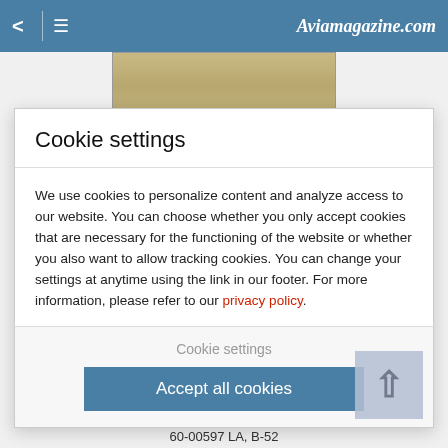< ≡ Aviamagazine.com
[Figure (photo): Partial aircraft photo, brownish/sandy tones, top portion visible]
77-0299, F-4
[Figure (photo): Partial aircraft photo, blue sky background, upper portion visible]
Cookie settings
We use cookies to personalize content and analyze access to our website. You can choose whether you only accept cookies that are necessary for the functioning of the website or whether you also want to allow tracking cookies. You can change your settings at anytime using the link in our footer. For more information, please refer to our privacy policy.
Cookie settings
Accept all cookies
60-00597 LA, B-52